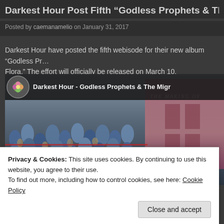Darkest Hour Post Fifth “Godless Prophets & The Migrant
Posted by caemanamelio on January 31, 2017
Darkest Hour have posted the fifth webisode for their new album “Godless Pr… Flora.” The effort will officially be released on March 10.
[Figure (screenshot): YouTube video thumbnail for Darkest Hour - Godless Prophets & The Migr… showing bells/horns in dark blue tones with text GODLESS PROPH… and a pink building in background, with a play button overlay. Video title bar shows channel icon and title.]
Privacy & Cookies: This site uses cookies. By continuing to use this website, you agree to their use.
To find out more, including how to control cookies, see here: Cookie Policy
Close and accept